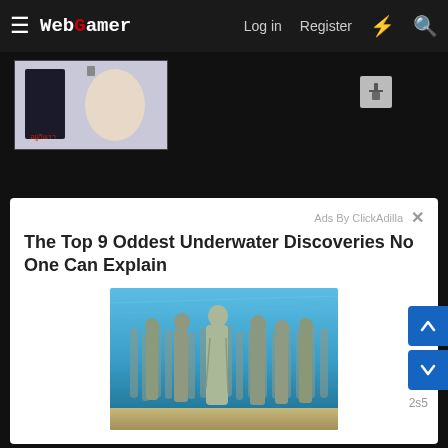WebGamer | Log in | Register
[Figure (screenshot): Small advertisement banner image showing a person and a product bottle, Thai text visible]
[Figure (illustration): Small grey icon resembling a screwdriver/tool]
Ads By ClickAdilla
The Top 9 Oddest Underwater Discoveries No One Can Explain
[Figure (photo): Underwater photograph showing an array of grey stone/concrete human statues submerged underwater, with blue-green water and sandy seafloor visible]
2s5
they'll catch us!